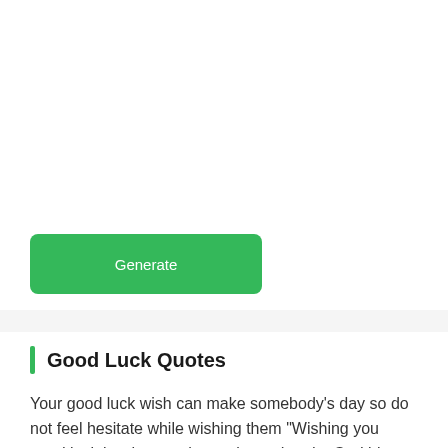[Figure (screenshot): Green Generate button on white background]
Good Luck Quotes
Your good luck wish can make somebody's day so do not feel hesitate while wishing them "Wishing you good luck in what you have planned to do. God bless you!" Cute good luck wish